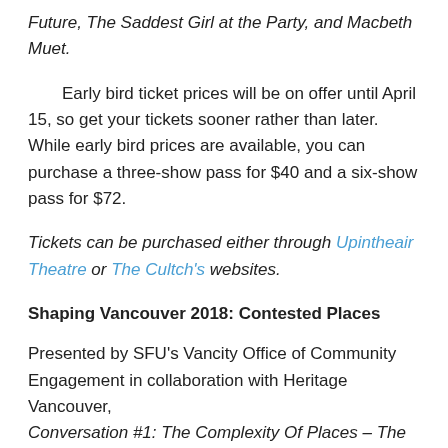Future, The Saddest Girl at the Party, and Macbeth Muet.
Early bird ticket prices will be on offer until April 15, so get your tickets sooner rather than later. While early bird prices are available, you can purchase a three-show pass for $40 and a six-show pass for $72.
Tickets can be purchased either through Upintheair Theatre or The Cultch's websites.
Shaping Vancouver 2018: Contested Places
Presented by SFU's Vancity Office of Community Engagement in collaboration with Heritage Vancouver, Conversation #1: The Complexity Of Places – The Heather